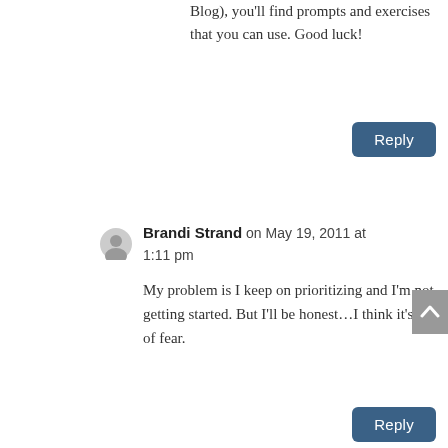Blog), you'll find prompts and exercises that you can use. Good luck!
Reply
Brandi Strand on May 19, 2011 at 1:11 pm
My problem is I keep on prioritizing and I'm not getting started. But I'll be honest...I think it's out of fear.
Reply